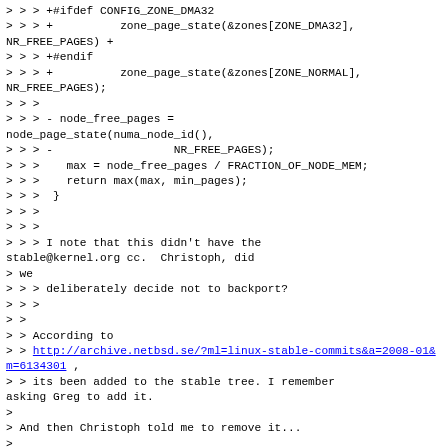> > > +#ifdef CONFIG_ZONE_DMA32
> > > +          zone_page_state(&zones[ZONE_DMA32], NR_FREE_PAGES) +
> > > +#endif
> > > +          zone_page_state(&zones[ZONE_NORMAL], NR_FREE_PAGES);
> > >
> > > - node_free_pages = node_page_state(numa_node_id(),
> > > -                  NR_FREE_PAGES);
> > >    max = node_free_pages / FRACTION_OF_NODE_MEM;
> > >    return max(max, min_pages);
> > >  }
> > >
> > >
> > > I note that this didn't have the stable@kernel.org cc.  Christoph, did
> we
> > > deliberately decide not to backport?
> > >
> >
> > According to
> > http://archive.netbsd.se/?ml=linux-stable-commits&a=2008-01&m=6134301 ,
> > its been added to the stable tree. I remember asking Greg to add it.
>
> And then Christoph told me to remove it...
>
> thanks,